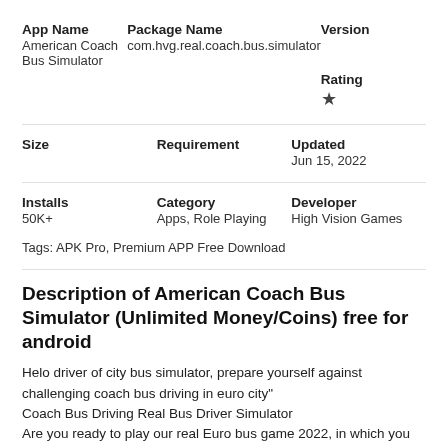| App Name | Package Name | Version |
| --- | --- | --- |
| American Coach Bus Simulator | com.hvg.real.coach.bus.simulator |  |
|  |  | Rating |
|  |  | ★ |
| Size | Requirement | Updated |
|  |  | Jun 15, 2022 |
| Installs | Category | Developer |
| 50K+ | Apps, Role Playing | High Vision Games |
Tags: APK Pro, Premium APP Free Download
Description of American Coach Bus Simulator (Unlimited Money/Coins) free for android
Helo driver of city bus simulator, prepare yourself against challenging coach bus driving in euro city"
Coach Bus Driving Real Bus Driver Simulator
Are you ready to play our real Euro bus game 2022, in which you find a realistic environment and highly graphics features and change controls setting according to your wish, then we bring a real euro coach bus 3d, pick and drop passenger services Euro bus simulator